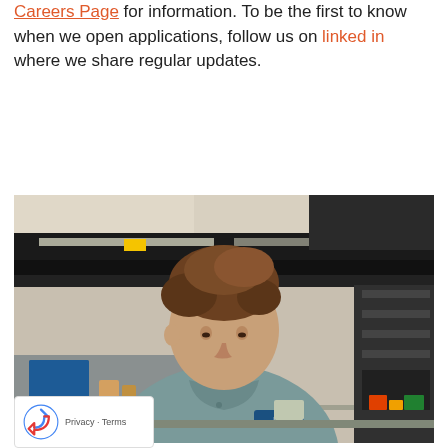Careers Page for information. To be the first to know when we open applications, follow us on linked in where we share regular updates.
[Figure (photo): A young man wearing a grey polo shirt with a logo, leaning over a workbench in an industrial/engineering workspace. Equipment, monitors, and storage racks visible in the background.]
[Figure (logo): Google reCAPTCHA badge with rotating arrows icon and Privacy / Terms links]